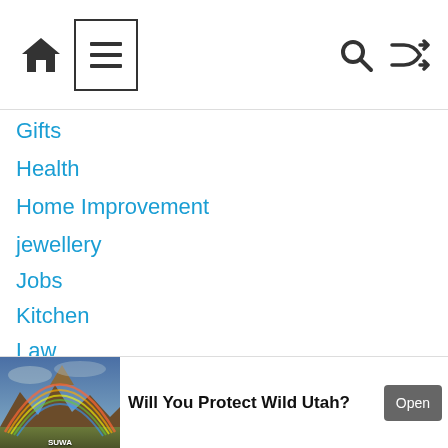Navigation bar with home icon, menu icon, search icon, shuffle icon
Gifts
Health
Home Improvement
jewellery
Jobs
Kitchen
Law
Lifestyle
Marketing
[Figure (screenshot): Advertisement banner: landscape photo with rainbow over Utah mountains labeled SUWA, bold text 'Will You Protect Wild Utah?', Open button]